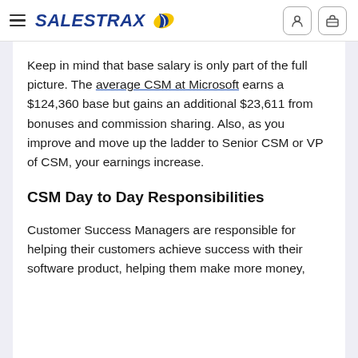SalesTrax
Keep in mind that base salary is only part of the full picture. The average CSM at Microsoft earns a $124,360 base but gains an additional $23,611 from bonuses and commission sharing. Also, as you improve and move up the ladder to Senior CSM or VP of CSM, your earnings increase.
CSM Day to Day Responsibilities
Customer Success Managers are responsible for helping their customers achieve success with their software product, helping them make more money,